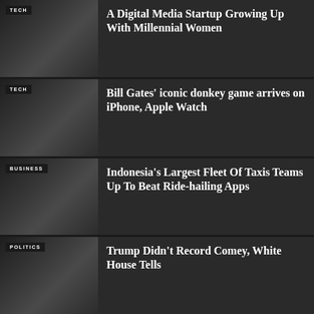[Figure (photo): Dark thumbnail image with TECH tag label]
A Digital Media Startup Growing Up With Millennial Women
[Figure (photo): Dark thumbnail image with TECH tag label]
Bill Gates' iconic donkey game arrives on iPhone, Apple Watch
[Figure (photo): Dark thumbnail image with BUSINESS tag label]
Indonesia's Largest Fleet Of Taxis Teams Up To Beat Ride-hailing Apps
[Figure (photo): Dark thumbnail image with POLITICS tag label]
Trump Didn't Record Comey, White House Tells